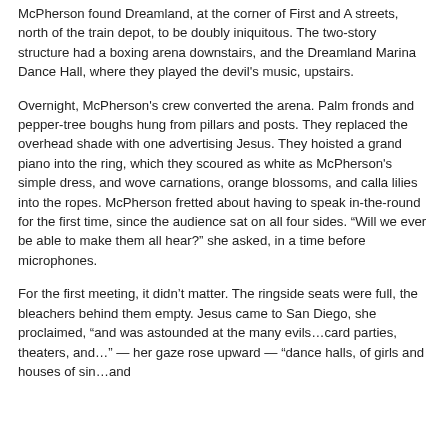McPherson found Dreamland, at the corner of First and A streets, north of the train depot, to be doubly iniquitous. The two-story structure had a boxing arena downstairs, and the Dreamland Marina Dance Hall, where they played the devil's music, upstairs.
Overnight, McPherson's crew converted the arena. Palm fronds and pepper-tree boughs hung from pillars and posts. They replaced the overhead shade with one advertising Jesus. They hoisted a grand piano into the ring, which they scoured as white as McPherson's simple dress, and wove carnations, orange blossoms, and calla lilies into the ropes. McPherson fretted about having to speak in-the-round for the first time, since the audience sat on all four sides. “Will we ever be able to make them all hear?” she asked, in a time before microphones.
For the first meeting, it didn’t matter. The ringside seats were full, the bleachers behind them empty. Jesus came to San Diego, she proclaimed, “and was astounded at the many evils…card parties, theaters, and…” — her gaze rose upward — “dance halls, of girls and houses of sin…and